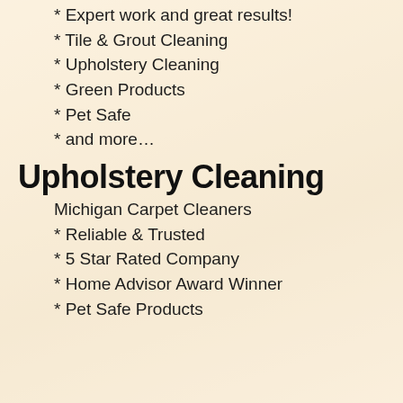* Expert work and great results!
* Tile & Grout Cleaning
* Upholstery Cleaning
* Green Products
* Pet Safe
* and more…
Upholstery Cleaning
Michigan Carpet Cleaners
* Reliable & Trusted
* 5 Star Rated Company
* Home Advisor Award Winner
* Pet Safe Products